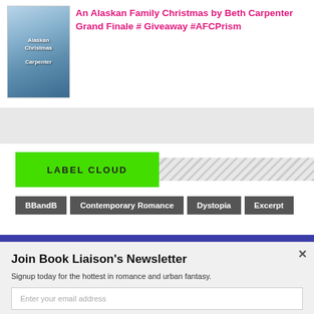[Figure (illustration): Book cover for 'Alaskan Christmas' by Carpenter, showing winter scene with people and snowy landscape]
An Alaskan Family Christmas by Beth Carpenter Grand Finale # Giveaway #AFCPrism
LABEL CLOUD
BBandB
Contemporary Romance
Dystopia
Excerpt
nce
Join Book Liaison's Newsletter
Signup today for the hottest in romance and urban fantasy.
Enter your email address
Subscribe Now